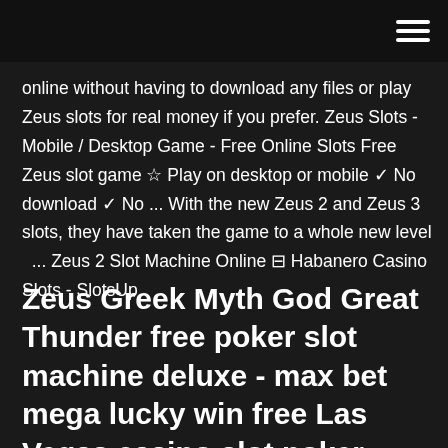online without having to download any files or play Zeus slots for real money if you prefer. Zeus Slots - Mobile / Desktop Game - Free Online Slots Free Zeus slot game ☆ Play on desktop or mobile ✓ No download ✓ No ... With the new Zeus 2 and Zeus 3 slots, they have taken the game to a whole new level ... Zeus 2 Slot Machine Online ⊟ Habanero Casino Slots - SlotsUp
Zeus Greek Myth God Great Thunder free poker slot machine deluxe - max bet mega lucky win free Las Vegas casino slot poker progressive jackpot bonus poker machine ... Dec 10, 2015 A...